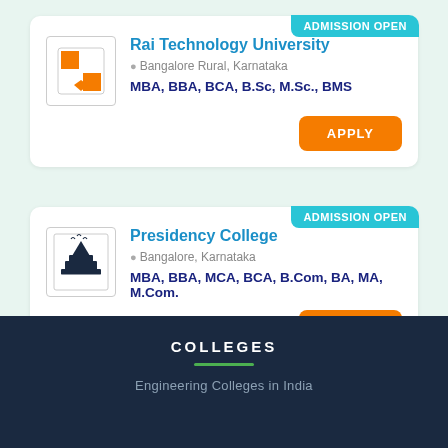[Figure (logo): Rai Technology University logo - orange and white shield with cross pattern]
Rai Technology University
Bangalore Rural, Karnataka
MBA, BBA, BCA, B.Sc, M.Sc., BMS
APPLY
[Figure (logo): Presidency College logo - book with birds flying above]
Presidency College
Bangalore, Karnataka
MBA, BBA, MCA, BCA, B.Com, BA, MA, M.Com.
APPLY
COLLEGES
Engineering Colleges in India